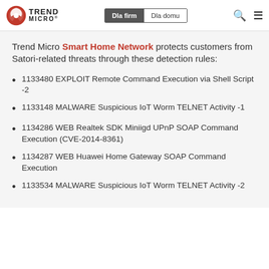Trend Micro | Dla firm | Dla domu
Trend Micro Smart Home Network protects customers from Satori-related threats through these detection rules:
1133480 EXPLOIT Remote Command Execution via Shell Script -2
1133148 MALWARE Suspicious IoT Worm TELNET Activity -1
1134286 WEB Realtek SDK Miniigd UPnP SOAP Command Execution (CVE-2014-8361)
1134287 WEB Huawei Home Gateway SOAP Command Execution
1133534 MALWARE Suspicious IoT Worm TELNET Activity -2